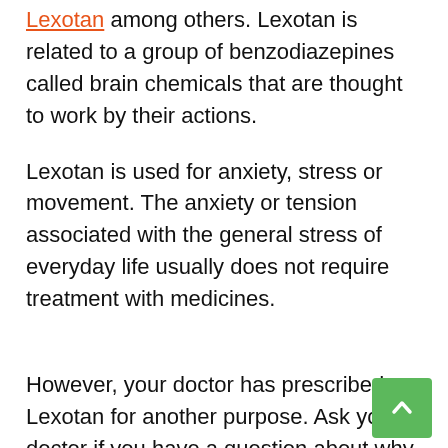Lexotan among others. Lexotan is related to a group of benzodiazepines called brain chemicals that are thought to work by their actions.
Lexotan is used for anxiety, stress or movement. The anxiety or tension associated with the general stress of everyday life usually does not require treatment with medicines.
However, your doctor has prescribed Lexotan for another purpose. Ask your doctor if you have a question about why Lexus is scheduled for you.
In general, benzodiazepines such as Lexotan should be taken only for a short time (for